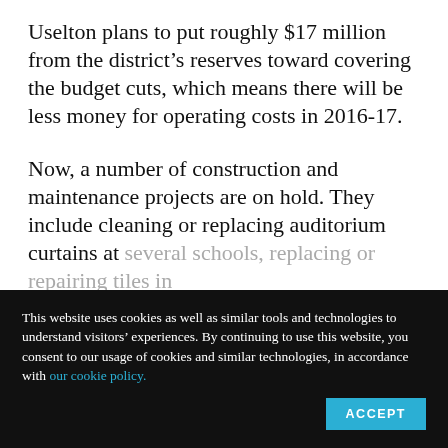Uselton plans to put roughly $17 million from the district’s reserves toward covering the budget cuts, which means there will be less money for operating costs in 2016-17.
Now, a number of construction and maintenance projects are on hold. They include cleaning or replacing auditorium curtains at several schools, replacing or repairing tiles in
This website uses cookies as well as similar tools and technologies to understand visitors’ experiences. By continuing to use this website, you consent to our usage of cookies and similar technologies, in accordance with our cookie policy.